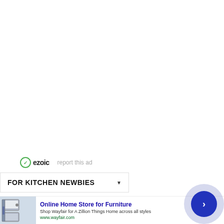[Figure (other): White empty space area (blank page content area)]
ezoic   report this ad
FOR KITCHEN NEWBIES
[Figure (photo): Advertisement banner: Online Home Store for Furniture - Shop Wayfair for A Zillion Things Home across all styles. www.wayfair.com. Shows kitchen appliances image on left, navigation arrow button on right.]